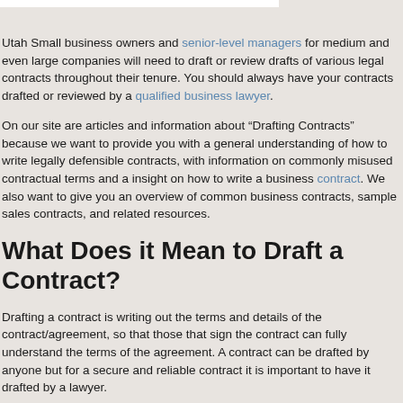Utah Small business owners and senior-level managers for medium and even large companies will need to draft or review drafts of various legal contracts throughout their tenure. You should always have your contracts drafted or reviewed by a qualified business lawyer.
On our site are articles and information about “Drafting Contracts” because we want to provide you with a general understanding of how to write legally defensible contracts, with information on commonly misused contractual terms and a insight on how to write a business contract. We also want to give you an overview of common business contracts, sample sales contracts, and related resources.
What Does it Mean to Draft a Contract?
Drafting a contract is writing out the terms and details of the contract/agreement, so that those that sign the contract can fully understand the terms of the agreement. A contract can be drafted by anyone but for a secure and reliable contract it is important to have it drafted by a lawyer.